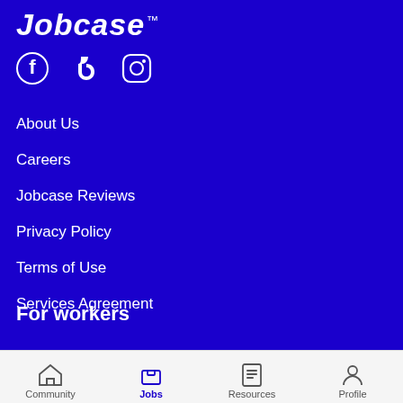Jobcase™
[Figure (illustration): Social media icons: Facebook, TikTok, Instagram in white on blue background]
About Us
Careers
Jobcase Reviews
Privacy Policy
Terms of Use
Services Agreement
For workers
Community | Jobs | Resources | Profile